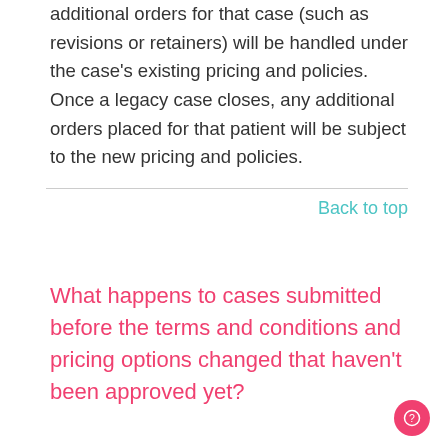additional orders for that case (such as revisions or retainers) will be handled under the case's existing pricing and policies. Once a legacy case closes, any additional orders placed for that patient will be subject to the new pricing and policies.
Back to top
What happens to cases submitted before the terms and conditions and pricing options changed that haven't been approved yet?